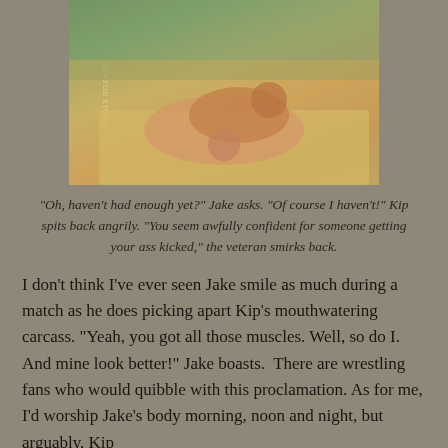[Figure (photo): Two male wrestlers on a mat outdoors, one pinning the other in a headlock. Watermark reads ©2013 BGEAST]
“Oh, haven’t had enough yet?” Jake asks. “Of course I haven’t!” Kip spits back angrily. “You seem awfully confident for someone getting your ass kicked,” the veteran smirks back.
I don’t think I’ve ever seen Jake smile as much during a match as he does picking apart Kip’s mouthwatering carcass. “Yeah, you got all those muscles. Well, so do I. And mine look better!” Jake boasts.  There are wrestling fans who would quibble with this proclamation. As for me, I’d worship Jake’s body morning, noon and night, but arguably, Kip